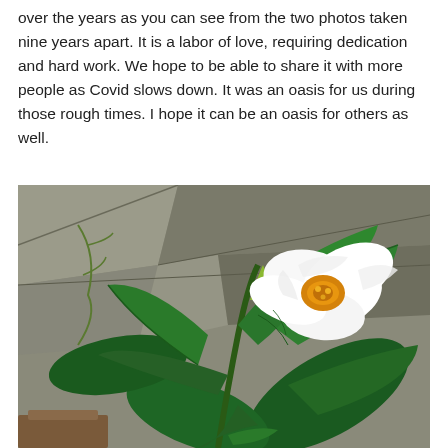over the years as you can see from the two photos taken nine years apart. It is a labor of love, requiring dedication and hard work. We hope to be able to share it with more people as Covid slows down. It was an oasis for us during those rough times. I hope it can be an oasis for others as well.
[Figure (photo): Close-up photograph of a tropical plant with large dark green leaves and a single large white flower with an orange-yellow center, set against a stone/paved garden floor background.]